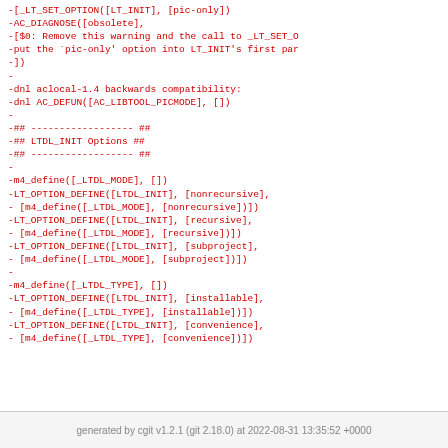-[_LT_SET_OPTION([LT_INIT], [pic-only])
-AC_DIAGNOSE([obsolete],
-[$0: Remove this warning and the call to _LT_SET_O
-put the `pic-only' option into LT_INIT's first par
-])
-
-dnl aclocal-1.4 backwards compatibility:
-dnl AC_DEFUN([AC_LIBTOOL_PICMODE], [])
-
-## ------------------ ##
-## LTDL_INIT Options ##
-## ------------------ ##
-
-m4_define([_LTDL_MODE], [])
-LT_OPTION_DEFINE([LTDL_INIT], [nonrecursive],
- [m4_define([_LTDL_MODE], [nonrecursive])])
-LT_OPTION_DEFINE([LTDL_INIT], [recursive],
- [m4_define([_LTDL_MODE], [recursive])])
-LT_OPTION_DEFINE([LTDL_INIT], [subproject],
- [m4_define([_LTDL_MODE], [subproject])])
-
-m4_define([_LTDL_TYPE], [])
-LT_OPTION_DEFINE([LTDL_INIT], [installable],
- [m4_define([_LTDL_TYPE], [installable])])
-LT_OPTION_DEFINE([LTDL_INIT], [convenience],
- [m4_define([_LTDL_TYPE], [convenience])])
generated by cgit v1.2.1 (git 2.18.0) at 2022-08-31 13:35:52 +0000